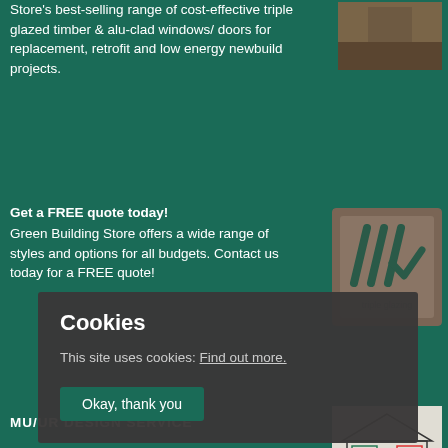Store's best-selling range of cost-effective triple glazed timber & alu-clad windows/ doors for replacement, retrofit and low energy newbuild projects.
[Figure (photo): Photo of a building exterior with windows]
Get a FREE quote today!
Green Building Store offers a wide range of styles and options for all budgets. Contact us today for a FREE quote!
[Figure (logo): Triple glazing logo with checkmark]
MU/UR DESIGN SERVICE
[Figure (engineering-diagram): House cross-section diagram showing window placement]
[Figure (photo): Photo of interior door/window installation]
Cookies
This site uses cookies: Find out more.
Okay, thank you